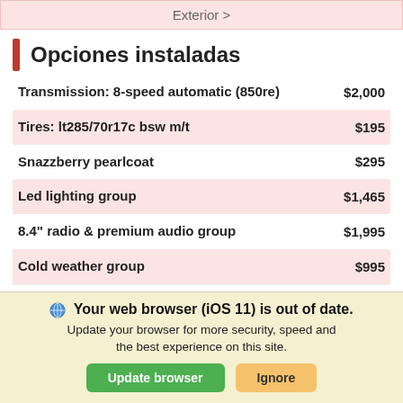Exterior >
Opciones instaladas
Transmission: 8-speed automatic (850re)  $2,000
Tires: lt285/70r17c bsw m/t  $195
Snazzberry pearlcoat  $295
Led lighting group  $1,465
8.4" radio & premium audio group  $1,995
Cold weather group  $995
Trailer tow package  $545
Your web browser (iOS 11) is out of date. Update your browser for more security, speed and the best experience on this site.